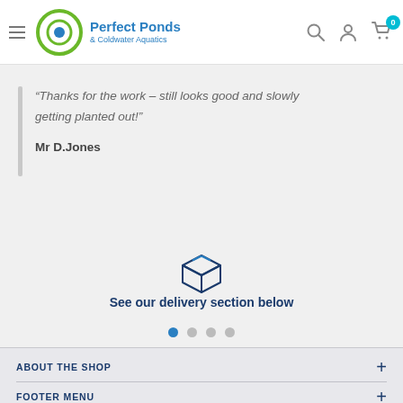Perfect Ponds & Coldwater Aquatics
“Thanks for the work – still looks good and slowly getting planted out!”
Mr D.Jones
[Figure (illustration): Box/delivery icon in dark blue outline style]
See our delivery section below
ABOUT THE SHOP
FOOTER MENU